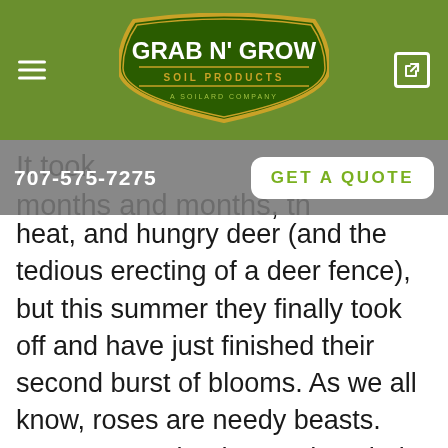[Figure (logo): Grab N' Grow Soil Products logo — green shield shape with gold border, white text reading GRAB N' GROW SOIL PRODUCTS, subtitle A SOILARD COMPANY]
707-575-7275
GET A QUOTE
It took months and months, the heat, and hungry deer (and the tedious erecting of a deer fence), but this summer they finally took off and have just finished their second burst of blooms. As we all know, roses are needy beasts. Everyone under the sun has their own ideas on summer rose care, so I had to dig into the books a bit to figure out exactly what to do.
Before we talk about summer rose care, let me tell you a little bit about the winter work of getting them into the ground. Like the